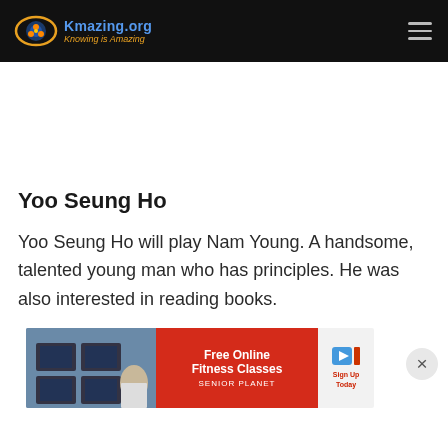Kmazing.org — Knowing is Amazing
Yoo Seung Ho
Yoo Seung Ho will play Nam Young. A handsome, talented young man who has principles. He was also interested in reading books.
[Figure (infographic): Advertisement banner for Free Online Fitness Classes by Senior Planet with a play button and Sign Up Today call to action]